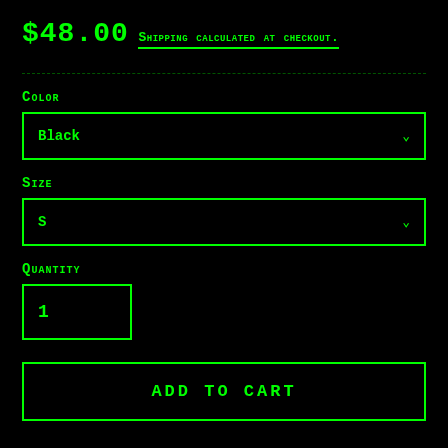$48.00
Shipping calculated at checkout.
Color
Black
Size
S
Quantity
1
ADD TO CART